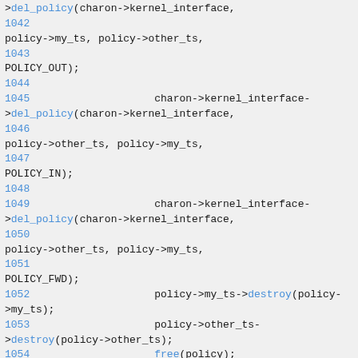Source code listing lines 1042-1055 showing kernel interface del_policy and destroy calls
>del_policy(charon->kernel_interface,
1042
policy->my_ts, policy->other_ts,
1043
POLICY_OUT);
1044
1045                    charon->kernel_interface->del_policy(charon->kernel_interface,
1046
policy->other_ts, policy->my_ts,
1047
POLICY_IN);
1048
1049                    charon->kernel_interface->del_policy(charon->kernel_interface,
1050
policy->other_ts, policy->my_ts,
1051
POLICY_FWD);
1052                    policy->my_ts->destroy(policy->my_ts);
1053                    policy->other_ts->destroy(policy->other_ts);
1054                    free(policy);
1055        }